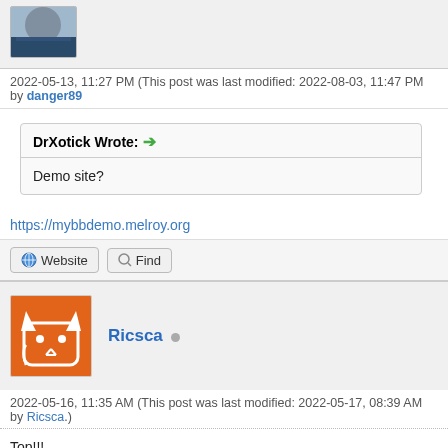[Figure (photo): Partial user avatar photo of a person in a blue patterned shirt, cropped at top of page]
2022-05-13, 11:27 PM (This post was last modified: 2022-08-03, 11:47 PM by danger89
DrXotick Wrote: → Demo site?
https://mybbdemo.melroy.org
Website   Find
[Figure (illustration): Orange square avatar with white cartoon cat icon for user Ricsca]
Ricsca (online indicator)
2022-05-16, 11:35 AM (This post was last modified: 2022-05-17, 08:39 AM by Ricsca.)
Top!!!